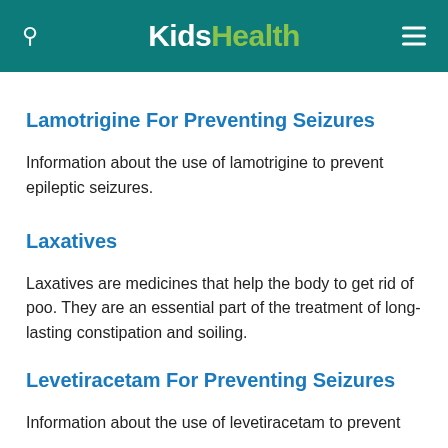KidsHealth
Lamotrigine For Preventing Seizures
Information about the use of lamotrigine to prevent epileptic seizures.
Laxatives
Laxatives are medicines that help the body to get rid of poo. They are an essential part of the treatment of long-lasting constipation and soiling.
Levetiracetam For Preventing Seizures
Information about the use of levetiracetam to prevent